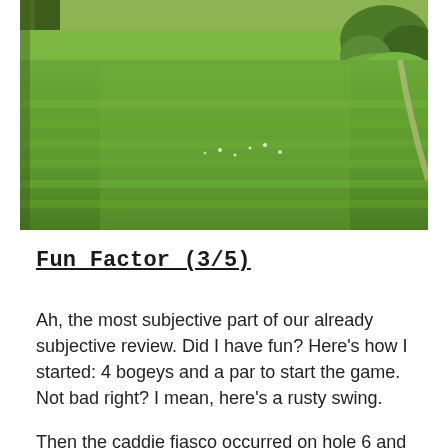[Figure (photo): A photograph of a golf course fairway with green grass, trees in the background, and a small hill or mound visible on the right side.]
Fun Factor (3/5)
Ah, the most subjective part of our already subjective review. Did I have fun? Here's how I started: 4 bogeys and a par to start the game. Not bad right? I mean, here's a rusty swing.
Then the caddie fiasco occurred on hole 6 and here's how